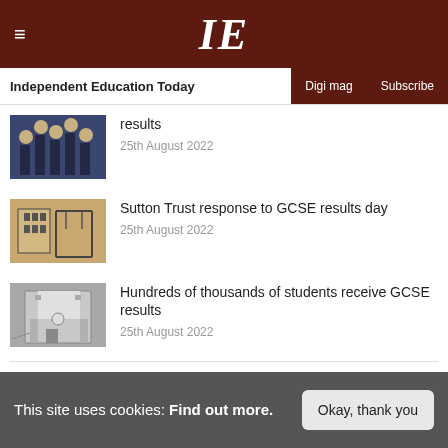IE — Independent Education Today
results
25th August 2022
Sutton Trust response to GCSE results day
25th August 2022
Hundreds of thousands of students receive GCSE results
25th August 2022
This site uses cookies: Find out more.